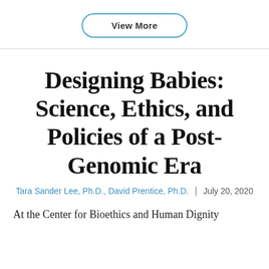[Figure (other): A rounded pill-shaped button with blue border and dark text reading 'View More']
Designing Babies: Science, Ethics, and Policies of a Post-Genomic Era
Tara Sander Lee, Ph.D., David Prentice, Ph.D. | July 20, 2020
At the Center for Bioethics and Human Dignity